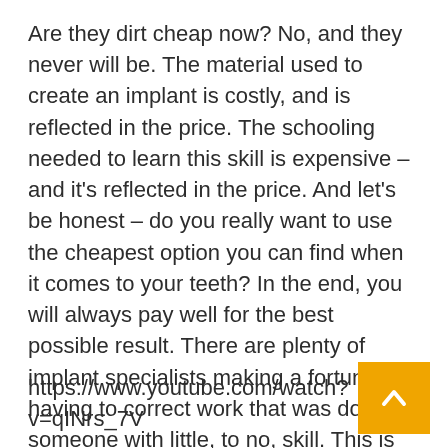Are they dirt cheap now? No, and they never will be. The material used to create an implant is costly, and is reflected in the price. The schooling needed to learn this skill is expensive – and it's reflected in the price. And let's be honest – do you really want to use the cheapest option you can find when it comes to your teeth? In the end, you will always pay well for the best possible result. There are plenty of implant specialists making a fortune having to correct work that was done by someone with little, to no, skill. This is an extremely painful, and expensive, situation that you do not want to experience. It's always best to get it right the first time around.
https://www.youtube.com/watch?v=qINrs_7V